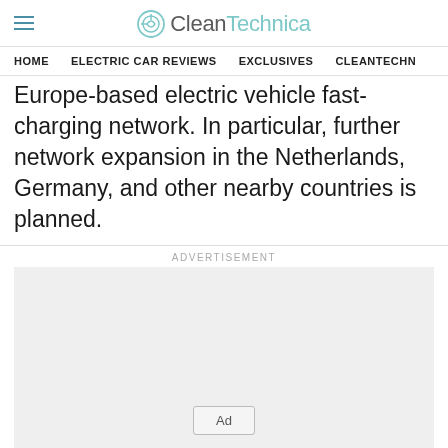CleanTechnica
HOME   ELECTRIC CAR REVIEWS   EXCLUSIVES   CLEANTECHN
Europe-based electric vehicle fast-charging network. In particular, further network expansion in the Netherlands, Germany, and other nearby countries is planned.
[Figure (other): Advertisement placeholder box with 'Ad' badge label]